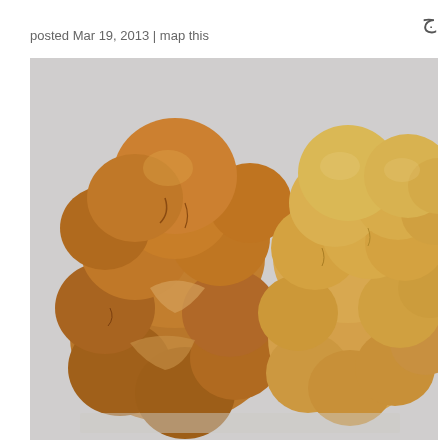ج
posted Mar 19, 2013 | map this
[Figure (photo): Two braided challah bread loaves side by side on a light gray surface. The left loaf is darker golden-brown with a more open, irregular braid. The right loaf is lighter golden, with a more uniform, compact braid shape.]